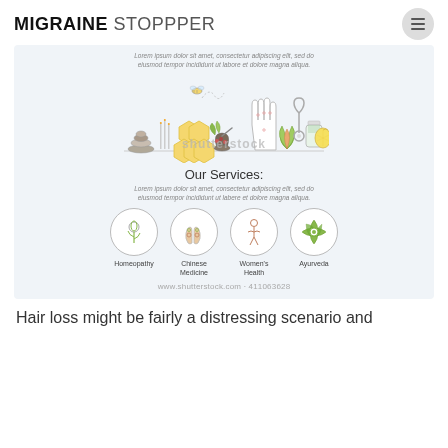MIGRAINE STOPPPER
Lorem ipsum dolor sit amet, consectetur adipiscing elit, sed do eiusmod tempor incididunt ut labore et dolore magna aliqua.
[Figure (illustration): Illustration of natural/alternative medicine items: stones, incense, honeycomb, mortar, hand with acupuncture points, lotus flower, stethoscope, medicine bottle, lemon. Shutterstock watermark overlay.]
Our Services:
Lorem ipsum dolor sit amet, consectetur adipiscing elit, sed do eiusmod tempor incididunt ut labere et dolore magna aliqua.
[Figure (illustration): Four circular icons: Homeopathy (flower), Chinese Medicine (feet/reflexology), Women's Health (yoga figure), Ayurveda (mandala)]
Homeopathy | Chinese Medicine | Women's Health | Ayurveda
www.shutterstock.com · 411063628
Hair loss might be fairly a distressing scenario and